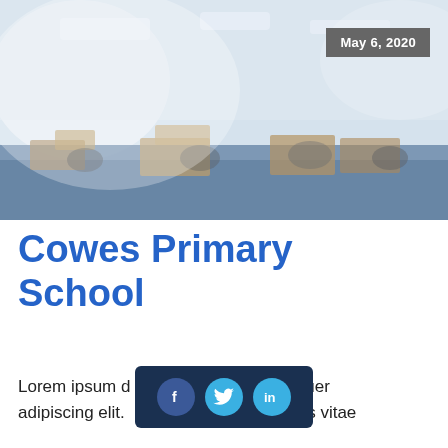[Figure (photo): Blurred office/classroom interior with desks, chairs, blue carpet, and bright overhead lighting. Date badge reading 'May 6, 2020' in top-right corner.]
Cowes Primary School
Lorem ipsum d[...] consectetuer adipiscing elit. [...] lectus vitae